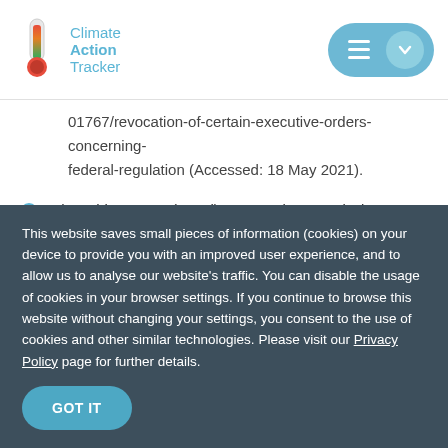Climate Action Tracker
01767/revocation-of-certain-executive-orders-concerning-federal-regulation (Accessed: 18 May 2021).
The White House (2021l) U.S. Methane Emissions Reduction Action Plan. Available at: https://www.whitehouse.gov/wp-content/uploads/2021/11/US-Methane-Emissions-
This website saves small pieces of information (cookies) on your device to provide you with an improved user experience, and to allow us to analyse our website's traffic. You can disable the usage of cookies in your browser settings. If you continue to browse this website without changing your settings, you consent to the use of cookies and other similar technologies. Please visit our Privacy Policy page for further details.
GOT IT